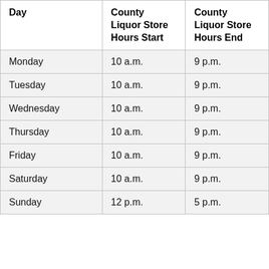| Day | County Liquor Store Hours Start | County Liquor Store Hours End |
| --- | --- | --- |
| Monday | 10 a.m. | 9 p.m. |
| Tuesday | 10 a.m. | 9 p.m. |
| Wednesday | 10 a.m. | 9 p.m. |
| Thursday | 10 a.m. | 9 p.m. |
| Friday | 10 a.m. | 9 p.m. |
| Saturday | 10 a.m. | 9 p.m. |
| Sunday | 12 p.m. | 5 p.m. |